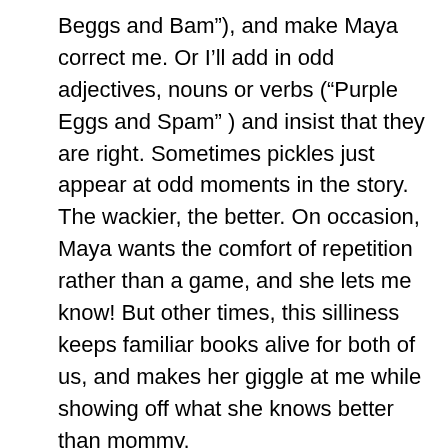Beggs and Bam"), and make Maya correct me. Or I'll add in odd adjectives, nouns or verbs (“Purple Eggs and Spam” ) and insist that they are right. Sometimes pickles just appear at odd moments in the story. The wackier, the better. On occasion, Maya wants the comfort of repetition rather than a game, and she lets me know! But other times, this silliness keeps familiar books alive for both of us, and makes her giggle at me while showing off what she knows better than mommy.
8. Let imitation be flattery: When your child talks, don’t correct their language, but do repeat, like a parenting parrot, what they say much of the time by subtly filling in their intentions. For example: “Mom, park today.” becomes, in your words, “You went to the park today?” Fill in and translate emotions for them as well (“Were you sad about that? You seem sad. You were sad at